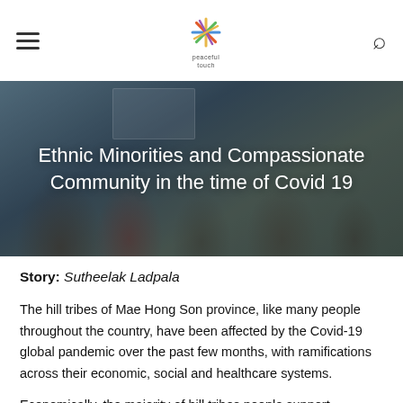Navigation bar with hamburger menu, Peaceful Touch logo, and search icon
[Figure (photo): Hero image of people (hill tribe ethnic minorities) wearing face masks, with overlaid title text: Ethnic Minorities and Compassionate Community in the time of Covid 19]
Ethnic Minorities and Compassionate Community in the time of Covid 19
Story: Sutheelak Ladpala
The hill tribes of Mae Hong Son province, like many people throughout the country, have been affected by the Covid-19 global pandemic over the past few months, with ramifications across their economic, social and healthcare systems.
Economically, the majority of hill tribes people support themselves through agricultural work, but a proportion also engage in commercial activity domestically and along the